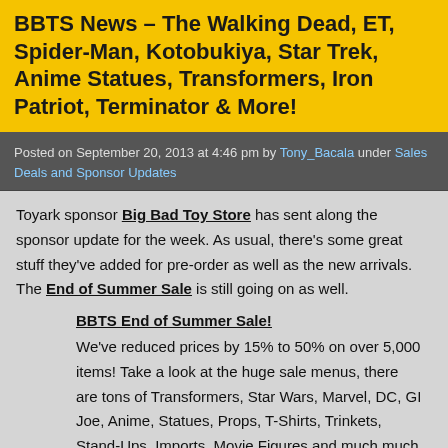BBTS News – The Walking Dead, ET, Spider-Man, Kotobukiya, Star Trek, Anime Statues, Transformers, Iron Patriot, Terminator & More!
Posted on September 20, 2013 at 4:46 pm by Tony_Bacala under Sales Deals and Sponsor Updates
Toyark sponsor Big Bad Toy Store has sent along the sponsor update for the week. As usual, there's some great stuff they've added for pre-order as well as the new arrivals. The End of Summer Sale is still going on as well.
BBTS End of Summer Sale!
We've reduced prices by 15% to 50% on over 5,000 items! Take a look at the huge sale menus, there are tons of Transformers, Star Wars, Marvel, DC, GI Joe, Anime, Statues, Props, T-Shirts, Trinkets, Stand-Ups, Imports, Movie Figures and much much more!
For everything else, please read on.
[Figure (other): Broken image placeholder for Big Bad Toy Store]